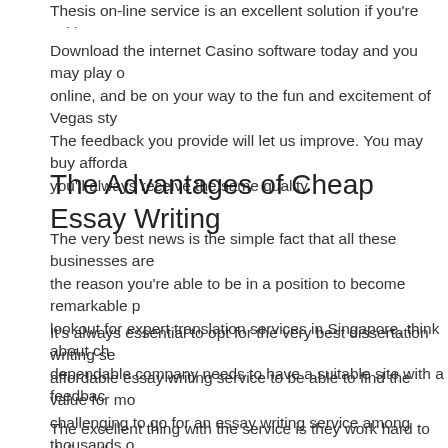Thesis on-line service is an excellent solution if you're writing your
Download the internet Casino software today and you may play o online, and be on your way to the fun and excitement of Vegas sty The feedback you provide will let us improve. You may buy afforda you'll always receive the same quality.
The Advantages of Cheap Essay Writing
The very best news is the simple fact that all these businesses are the reason you're able to be in a position to become remarkable p lookout for expert translation services in Singapore, think about ch dependable company needs to have a suitable site with a feedbac
It's always essential to opt for the very best dissertation writing se affordable essay writing service to be able to find the value for mo challenging to go for an essay writing service among thousands o essay help services are extremely cheap so you may straightaway
The excellent thing with the service is they work hard to deliver the